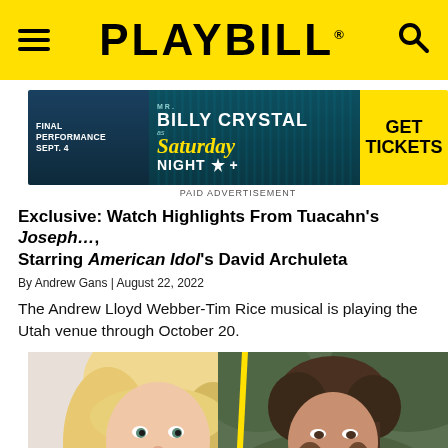PLAYBILL®
[Figure (infographic): Advertisement banner: FINAL PERFORMANCE SEPT. 4 | BILLY CRYSTAL as Saturday Night | GET TICKETS. PAID ADVERTISEMENT]
PAID ADVERTISEMENT
Exclusive: Watch Highlights From Tuacahn's Joseph…, Starring American Idol's David Archuleta
By Andrew Gans | August 22, 2022
The Andrew Lloyd Webber-Tim Rice musical is playing the Utah venue through October 20.
[Figure (photo): Split composite photo showing two performers: a blonde woman on the left and a young man with a microphone on the right, separated by a yellow diagonal line.]